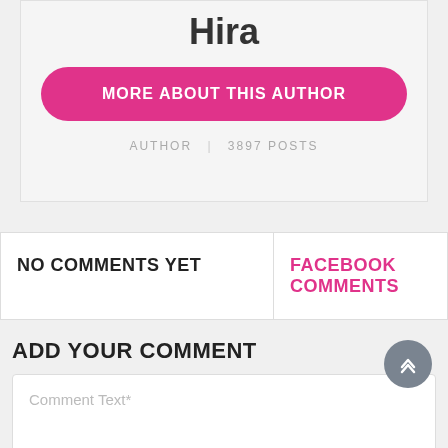Hira
MORE ABOUT THIS AUTHOR
AUTHOR | 3897 POSTS
NO COMMENTS YET
FACEBOOK COMMENTS
ADD YOUR COMMENT
Comment Text*